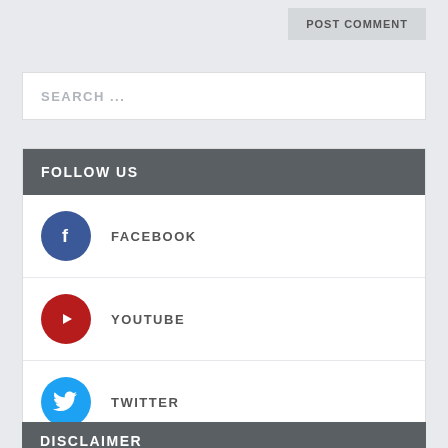POST COMMENT
SEARCH ...
FOLLOW US
FACEBOOK
YOUTUBE
TWITTER
DISCLAIMER